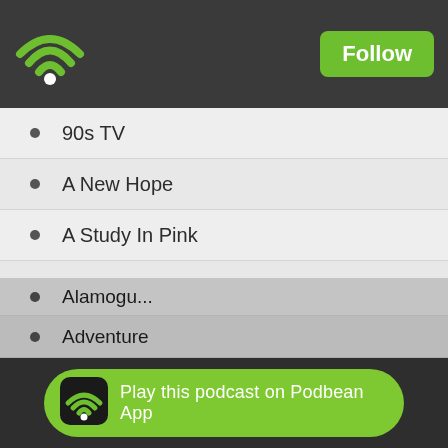[Figure (logo): Podbean wifi/podcast logo icon in green on dark header bar]
Follow
90s TV
A New Hope
A Study In Pink
A Walk in the Woods
Adam Driver
Adam West
Adelaide
Adult Swim
Adventure
Alamogu...
Play this podcast on Podbean App